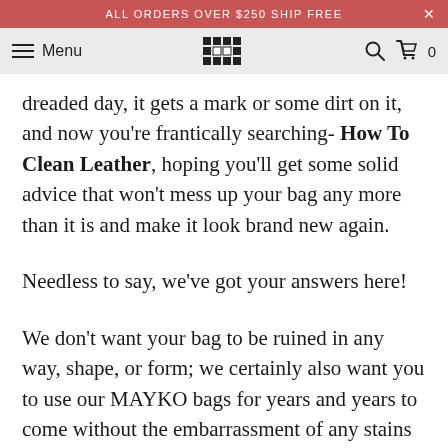ALL ORDERS OVER $250 SHIP FREE
Menu [MAYKO logo] Search Cart 0
dreaded day, it gets a mark or some dirt on it, and now you're frantically searching- How To Clean Leather, hoping you'll get some solid advice that won't mess up your bag any more than it is and make it look brand new again.
Needless to say, we've got your answers here!
We don't want your bag to be ruined in any way, shape, or form; we certainly also want you to use our MAYKO bags for years and years to come without the embarrassment of any stains on them!